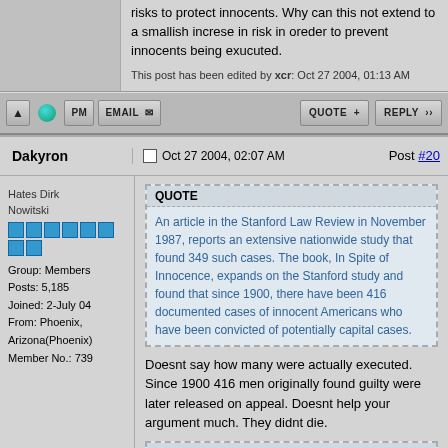risks to protect innocents. Why can this not extend to a smallish increse in risk in oreder to prevent innocents being exucuted.
This post has been edited by xcr: Oct 27 2004, 01:13 AM
Dakyron
Oct 27 2004, 02:07 AM    Post #20
Hates Dirk Nowitski
Group: Members
Posts: 5,185
Joined: 2-July 04
From: Phoenix, Arizona(Phoenix)
Member No.: 739
QUOTE
An article in the Stanford Law Review in November 1987, reports an extensive nationwide study that found 349 such cases. The book, In Spite of Innocence, expands on the Stanford study and found that since 1900, there have been 416 documented cases of innocent Americans who have been convicted of potentially capital cases.
Doesnt say how many were actually executed. Since 1900 416 men originally found guilty were later released on appeal. Doesnt help your argument much. They didnt die.
QUOTE